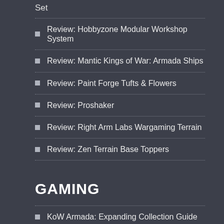Set
Review: Hobbyzone Modular Workshop System
Review: Mantic Kings of War: Armada Ships
Review: Paint Forge Tufts & Flowers
Review: Proshaker
Review: Right Arm Labs Wargaming Terrain
Review: Zen Terrain Base Toppers
GAMING
KoW Armada: Expanding Collection Guide
KoW Armada: Empire of Dust is Stronger than You